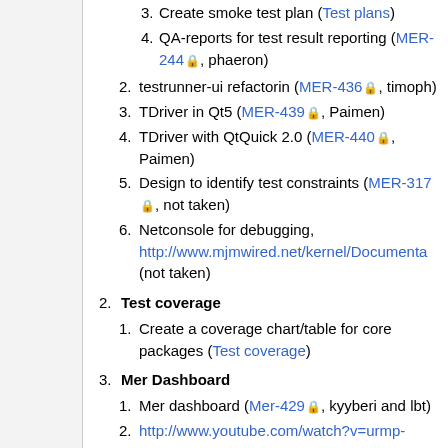3. Create smoke test plan (Test plans)
4. QA-reports for test result reporting (MER-244, phaeron)
2. testrunner-ui refactorin (MER-436, timoph)
3. TDriver in Qt5 (MER-439, Paimen)
4. TDriver with QtQuick 2.0 (MER-440, Paimen)
5. Design to identify test constraints (MER-317, not taken)
6. Netconsole for debugging, http://www.mjmwired.net/kernel/Documenta (not taken)
2. Test coverage
1. Create a coverage chart/table for core packages (Test coverage)
3. Mer Dashboard
1. Mer dashboard (Mer-429, kyyberi and lbt)
2. http://www.youtube.com/watch?v=urmp-